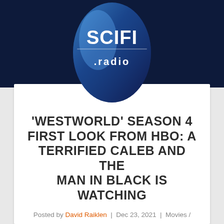[Figure (logo): SCIFI.radio logo — a blue and white oval/shield shape with white SCIFI text and .radio below, on a dark navy background]
'WESTWORLD' SEASON 4 FIRST LOOK FROM HBO: A TERRIFIED CALEB AND THE MAN IN BLACK IS WATCHING
Posted by David Raiklen | Dec 23, 2021 | Movies / Video / Theater, Science Fiction / Fantasy, Trailer Park |
0 | ★★★★★